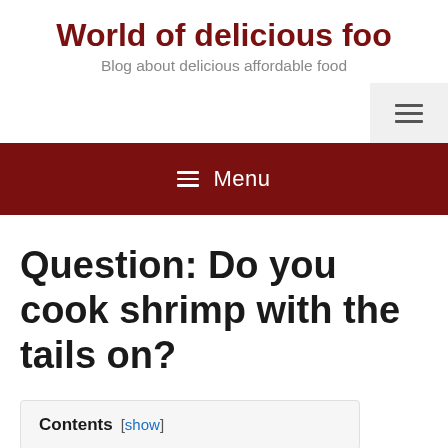World of delicious foo
Blog about delicious affordable food
≡ Menu
Question: Do you cook shrimp with the tails on?
Contents [ show ]